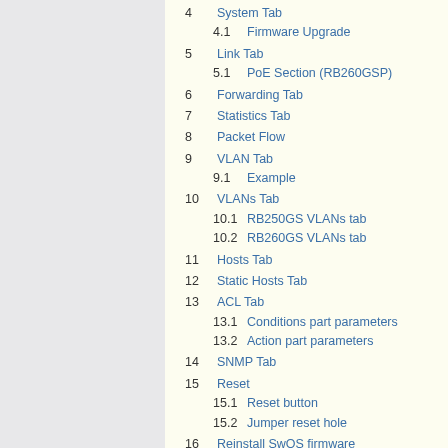4  System Tab
4.1  Firmware Upgrade
5  Link Tab
5.1  PoE Section (RB260GSP)
6  Forwarding Tab
7  Statistics Tab
8  Packet Flow
9  VLAN Tab
9.1  Example
10  VLANs Tab
10.1  RB250GS VLANs tab
10.2  RB260GS VLANs tab
11  Hosts Tab
12  Static Hosts Tab
13  ACL Tab
13.1  Conditions part parameters
13.2  Action part parameters
14  SNMP Tab
15  Reset
15.1  Reset button
15.2  Jumper reset hole
16  Reinstall SwOS firmware